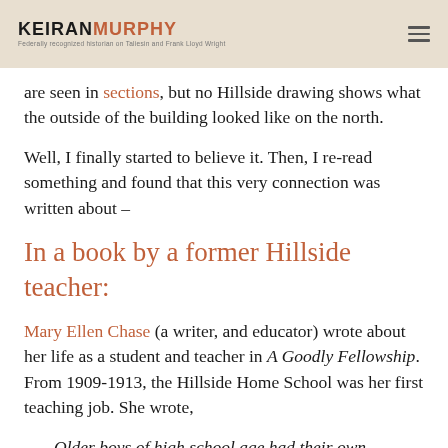KEIRAN MURPHY – Federally recognized historian on Taliesin and Frank Lloyd Wright
are seen in sections, but no Hillside drawing shows what the outside of the building looked like on the north.
Well, I finally started to believe it. Then, I re-read something and found that this very connection was written about –
In a book by a former Hillside teacher:
Mary Ellen Chase (a writer, and educator) wrote about her life as a student and teacher in A Goodly Fellowship. From 1909-1913, the Hillside Home School was her first teaching job. She wrote,
Older boys of high school age had their own